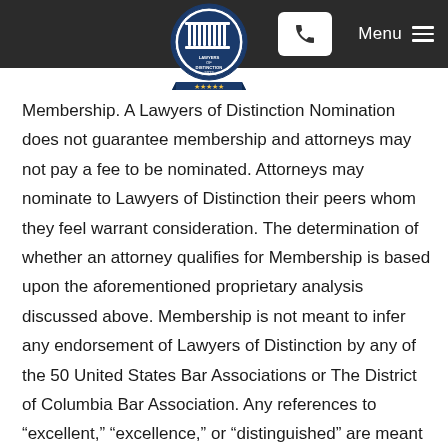Menu
[Figure (logo): Lawyers of Distinction 2022 badge logo — circular blue and white emblem with columns and stars]
Membership. A Lawyers of Distinction Nomination does not guarantee membership and attorneys may not pay a fee to be nominated. Attorneys may nominate to Lawyers of Distinction their peers whom they feel warrant consideration. The determination of whether an attorney qualifies for Membership is based upon the aforementioned proprietary analysis discussed above. Membership is not meant to infer any endorsement of Lawyers of Distinction by any of the 50 United States Bar Associations or The District of Columbia Bar Association. Any references to “excellent,” “excellence,” or “distinguished” are meant to refer to the Lawyers of Distinction organization only and not to any named member individually.